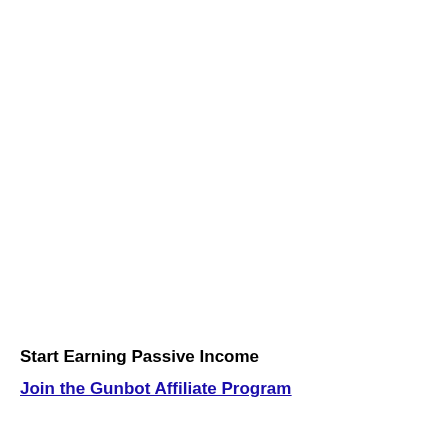Start Earning Passive Income
Join the Gunbot Affiliate Program